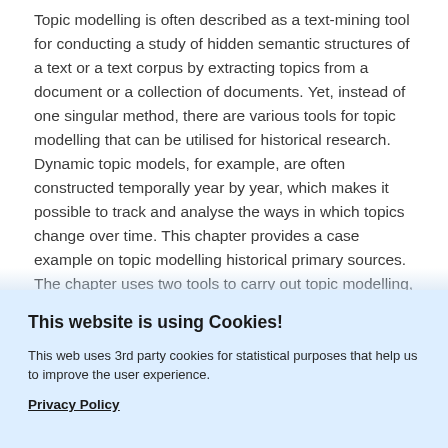Topic modelling is often described as a text-mining tool for conducting a study of hidden semantic structures of a text or a text corpus by extracting topics from a document or a collection of documents. Yet, instead of one singular method, there are various tools for topic modelling that can be utilised for historical research. Dynamic topic models, for example, are often constructed temporally year by year, which makes it possible to track and analyse the ways in which topics change over time. This chapter provides a case example on topic modelling historical primary sources. The chapter uses two tools to carry out topic modelling, MALLET and Dynamic Topic Model (DTM), in one dataset, containing texts from the
This website is using Cookies!
This web uses 3rd party cookies for statistical purposes that help us to improve the user experience.
Privacy Policy